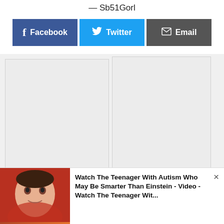— Sb51Gorl
[Figure (screenshot): Social share buttons: Facebook (blue), Twitter (cyan), Email (dark gray)]
[Figure (photo): Photo of a young teenager, appears to be a boy with dark hair, smiling, with a red/orange background]
Watch The Teenager With Autism Who May Be Smarter Than Einstein - Video -Watch The Teenager Wit...
×